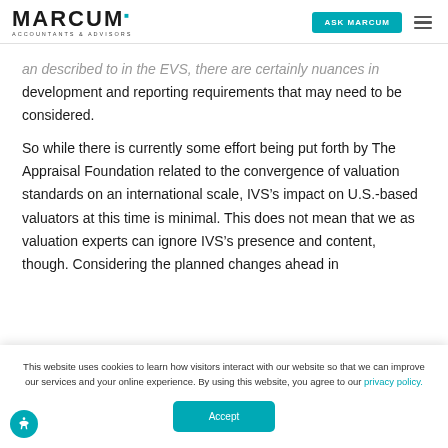MARCUM ACCOUNTANTS & ADVISORS | ASK MARCUM
an described to in the EVS, there are certainly nuances in development and reporting requirements that may need to be considered.
So while there is currently some effort being put forth by The Appraisal Foundation related to the convergence of valuation standards on an international scale, IVS’s impact on U.S.-based valuators at this time is minimal. This does not mean that we as valuation experts can ignore IVS’s presence and content, though. Considering the planned changes ahead in
This website uses cookies to learn how visitors interact with our website so that we can improve our services and your online experience. By using this website, you agree to our privacy policy.